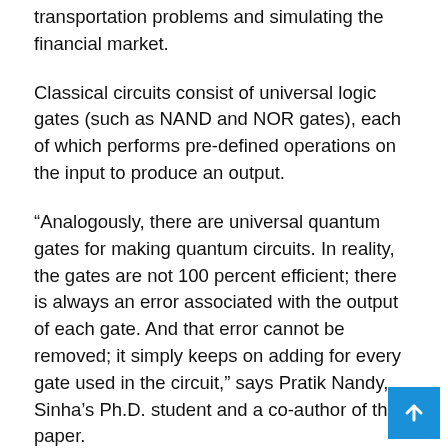transportation problems and simulating the financial market.
Classical circuits consist of universal logic gates (such as NAND and NOR gates), each of which performs pre-defined operations on the input to produce an output.
“Analogously, there are universal quantum gates for making quantum circuits. In reality, the gates are not 100 percent efficient; there is always an error associated with the output of each gate. And that error cannot be removed; it simply keeps on adding for every gate used in the circuit,” says Pratik Nandy, Sinha’s Ph.D. student and a co-author of the paper.
The most efficient circuit does not minimise the error in the output; rather it minimises the resources required for obtaining that same output. “So the question boils down to: given a net error tolerance, what is the minimum number of gates needed to build a quantum circuit?” says Nandy.